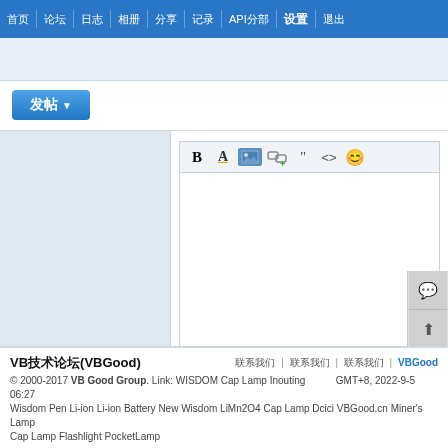首页 论坛 日志 相册 分享 记录 API分部 设置 退出
[Figure (screenshot): Chinese forum web interface with navigation bar, post creation area with text editor toolbar, and footer]
VB技术论坛(VBGood) © 2000-2017 VB Good Group. Link: WISDOM Cap Lamp Inouting  GMT+8, 2022-9-5 06:27 Wisdom Pen Li-ion Li-ion Battery New Wisdom LiMn2O4 Cap Lamp Dcici VBGood.cn Miner's Lamp Cap Lamp Flashlight PocketLamp